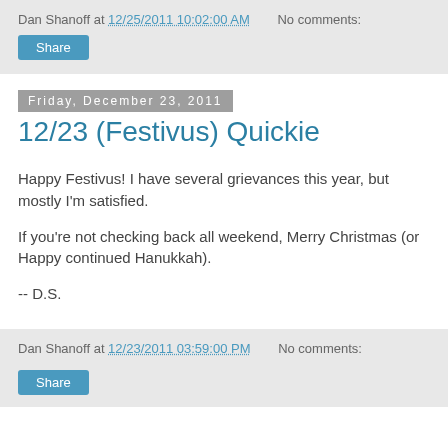Dan Shanoff at 12/25/2011 10:02:00 AM   No comments:
Share
Friday, December 23, 2011
12/23 (Festivus) Quickie
Happy Festivus! I have several grievances this year, but mostly I'm satisfied.
If you're not checking back all weekend, Merry Christmas (or Happy continued Hanukkah).
-- D.S.
Dan Shanoff at 12/23/2011 03:59:00 PM   No comments:
Share